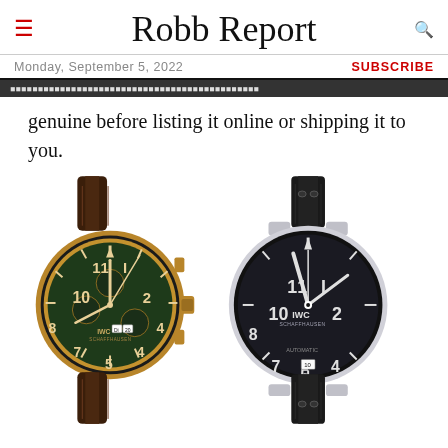Robb Report
Monday, September 5, 2022
SUBSCRIBE
genuine before listing it online or shipping it to you.
[Figure (photo): Two IWC pilot watches side by side: left is a bronze chronograph with green dial and brown leather strap; right is a stainless steel Big Pilot with black dial and black leather strap.]